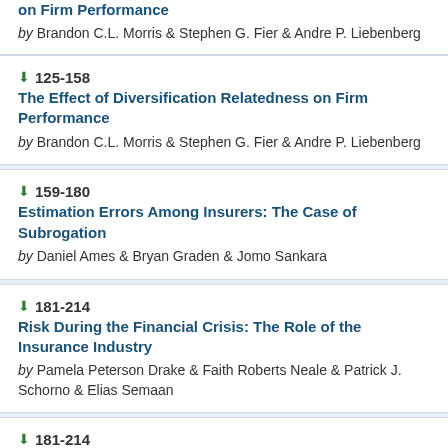on Firm Performance by Brandon C.L. Morris & Stephen G. Fier & Andre P. Liebenberg
125-158 The Effect of Diversification Relatedness on Firm Performance by Brandon C.L. Morris & Stephen G. Fier & Andre P. Liebenberg
159-180 Estimation Errors Among Insurers: The Case of Subrogation by Daniel Ames & Bryan Graden & Jomo Sankara
181-214 Risk During the Financial Crisis: The Role of the Insurance Industry by Pamela Peterson Drake & Faith Roberts Neale & Patrick J. Schorno & Elias Semaan
181-214 Risk During the Financial Crisis: The Role of the Insurance Industry by Pamela Peterson Drake & Faith Roberts Neale &